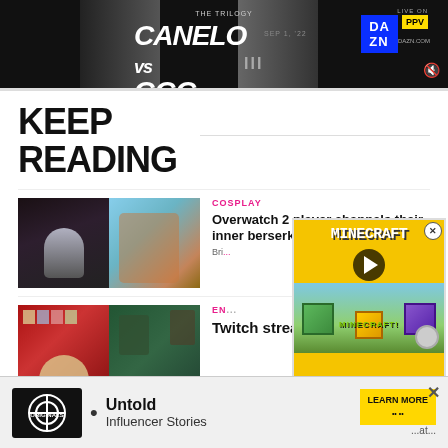[Figure (photo): Top banner advertisement for Canelo vs GGG boxing match on DAZN PPV, dark background with fighter silhouettes]
KEEP READING
[Figure (photo): Article thumbnail showing a person with dark hair taking a selfie on the left, and a blue-haired video game character (Junker Queen from Overwatch 2) on the right]
COSPLAY
Overwatch 2 player channels their inner berserker for Junker Quee...
Bri...
[Figure (photo): Popup overlay advertisement for Minecraft video with play button]
[Figure (photo): Second article thumbnail showing a person making a funny face surrounded by colorful items on the left, and a forested outdoor scene on the right]
EN...
Twitch streamer games
[Figure (advertisement): Bottom banner ad: Originals logo on left, bullet point, Untold Influencer Stories text, LEARN MORE button, and extra text '...at...']